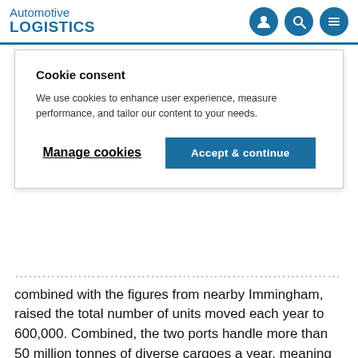Automotive LOGISTICS
Cookie consent
We use cookies to enhance user experience, measure performance, and tailor our content to your needs.
Manage cookies | Accept & continue
combined with the figures from nearby Immingham, raised the total number of units moved each year to 600,000. Combined, the two ports handle more than 50 million tonnes of diverse cargoes a year, meaning that it handles close to 10% of Britain's total seabourne trade.
The project received an investment of £26m ($42m), the largest single investment since the port's Royal Lock opened